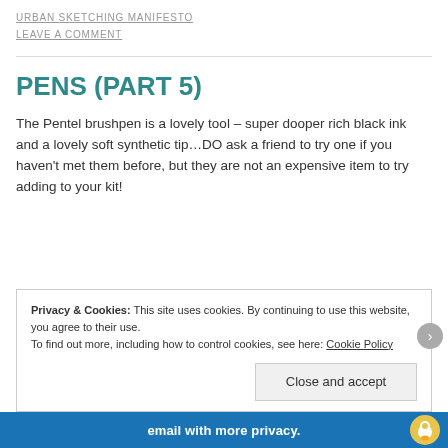URBAN SKETCHING MANIFESTO
LEAVE A COMMENT
PENS (PART 5)
The Pentel brushpen is a lovely tool – super dooper rich black ink and a lovely soft synthetic tip…DO ask a friend to try one if you haven't met them before, but they are not an expensive item to try adding to your kit!
Privacy & Cookies: This site uses cookies. By continuing to use this website, you agree to their use. To find out more, including how to control cookies, see here: Cookie Policy
Close and accept